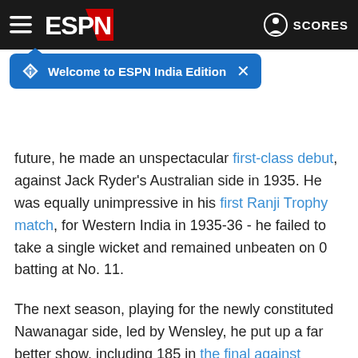ESPN navigation bar with hamburger menu, ESPN logo, and SCORES button
Welcome to ESPN India Edition
future, he made an unspectacular first-class debut, against Jack Ryder's Australian side in 1935. He was equally unimpressive in his first Ranji Trophy match, for Western India in 1935-36 - he failed to take a single wicket and remained unbeaten on 0 batting at No. 11.
The next season, playing for the newly constituted Nawanagar side, led by Wensley, he put up a far better show, including 185 in the final against Bengal, and contributed substantially to his team's victory in the Ranji Trophy. Surprisingly, when Lord Tennyson's team came to India in 1937-38, Mankad's name was missing from the first unofficial "Test" in Lahore.
A determined Mankad responded by scoring 62 and 67 not out as an opener and taking 4 for 53 and 2 for 56 as Jam Saheb of